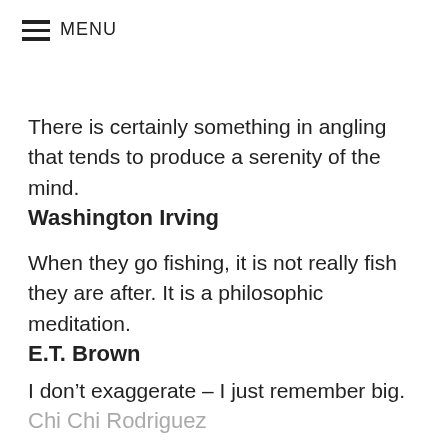MENU
There is certainly something in angling that tends to produce a serenity of the mind.
Washington Irving
When they go fishing, it is not really fish they are after. It is a philosophic meditation.
E.T. Brown
I don’t exaggerate – I just remember big.
Chi Chi Rodriguez